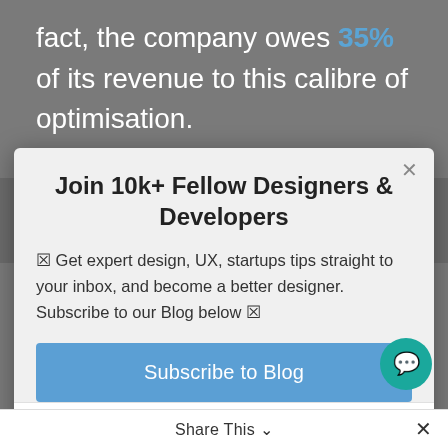fact, the company owes 35% of its revenue to this calibre of optimisation.
[Figure (screenshot): Modal popup dialog with title 'Join 10k+ Fellow Designers & Developers', subscription text, a blue 'Subscribe to Blog' button, and a HubSpot link bar]
can read anger, sadness and happiness. This emotional data sets can give you a analysis of what make the strategies to